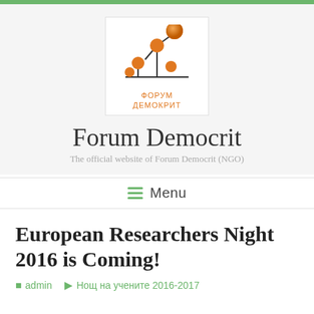[Figure (logo): Forum Democrit logo: orange spheres connected by black lines forming a tree/network diagram, with Cyrillic text ФОРУМ ДЕМОКРИТ below]
Forum Democrit
The official website of Forum Democrit (NGO)
≡ Menu
European Researchers Night 2016 is Coming!
admin   Нощ на учените 2016-2017